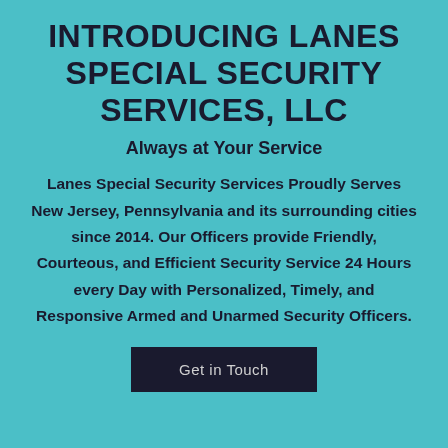INTRODUCING LANES SPECIAL SECURITY SERVICES, LLC
Always at Your Service
Lanes Special Security Services Proudly Serves New Jersey, Pennsylvania and its surrounding cities since 2014. Our Officers provide Friendly, Courteous, and Efficient Security Service 24 Hours every Day with Personalized, Timely, and Responsive Armed and Unarmed Security Officers.
Get in Touch